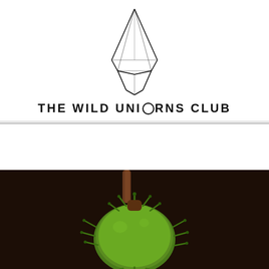[Figure (logo): Geometric crystal/diamond wireframe logo — tall pointed triangular prism shape]
THE WILD UNICORNS CLUB
< Previous   Next >
[Figure (photo): Close-up photo of a green spiky chestnut burr hanging from a brown branch against a dark background]